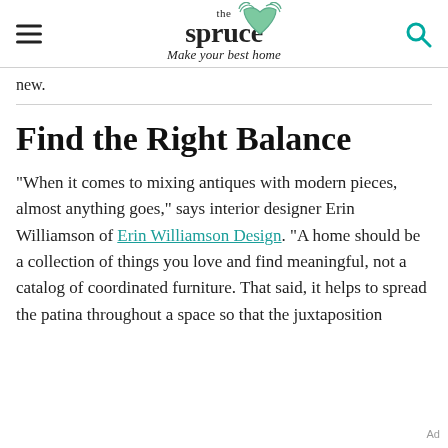the spruce — Make your best home
new.
Find the Right Balance
"When it comes to mixing antiques with modern pieces, almost anything goes," says interior designer Erin Williamson of Erin Williamson Design. "A home should be a collection of things you love and find meaningful, not a catalog of coordinated furniture. That said, it helps to spread the patina throughout a space so that the juxtaposition